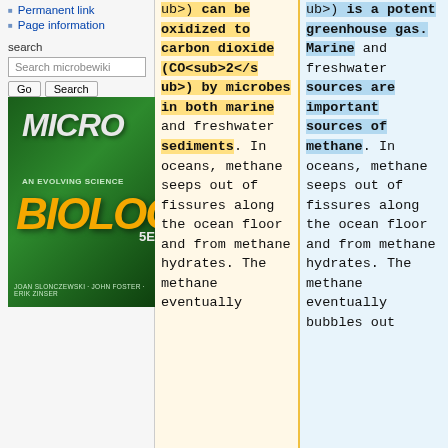Permanent link
Page information
search
[Figure (photo): Microbiology: An Evolving Science, 5th edition textbook cover with green microscopic organisms and bold orange BIOLOGY text]
ub>) can be oxidized to carbon dioxide (CO<sub>2</sub>) by microbes in both marine and freshwater sediments. In oceans, methane seeps out of fissures along the ocean floor and from methane hydrates. The methane eventually
ub>) is a potent greenhouse gas. Marine and freshwater sources are important sources of methane. In oceans, methane seeps out of fissures along the ocean floor and from methane hydrates. The methane eventually bubbles out